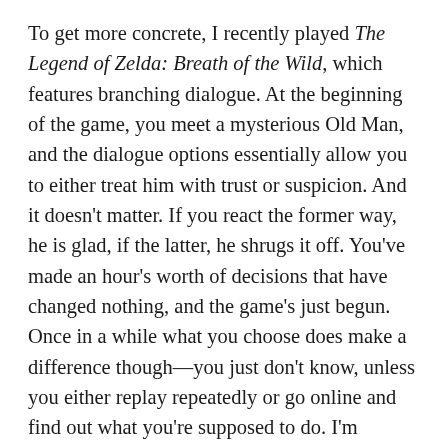To get more concrete, I recently played The Legend of Zelda: Breath of the Wild, which features branching dialogue. At the beginning of the game, you meet a mysterious Old Man, and the dialogue options essentially allow you to either treat him with trust or suspicion. And it doesn't matter. If you react the former way, he is glad, if the latter, he shrugs it off. You've made an hour's worth of decisions that have changed nothing, and the game's just begun. Once in a while what you choose does make a difference though—you just don't know, unless you either replay repeatedly or go online and find out what you're supposed to do. I'm definitely not saying that this isn't a great game, I just don't think this element was needed.